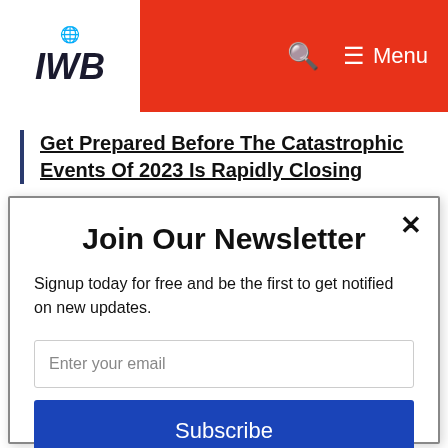IWB — Menu
Get Prepared Before The Catastrophic Events Of 2023 Is Rapidly Closing
Join Our Newsletter
Signup today for free and be the first to get notified on new updates.
Enter your email
Subscribe
powered by MailMunch